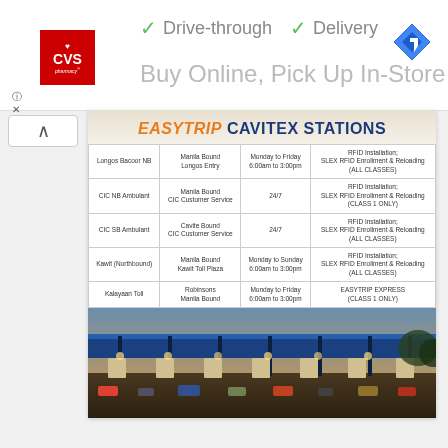[Figure (logo): CVS Pharmacy red logo with heart]
✓ Drive-through   ✓ Delivery
Buy Online, Pick Up In-Store
[Figure (logo): Google Maps direction icon (blue diamond with arrow)]
[Figure (infographic): EasyTrip Cavitex Stations information card with table and toll plaza photo]
| Station | Bound | Hours | Services |
| --- | --- | --- | --- |
| Longos Bacoor NB | Manila Bound Longos Entry | Monday to Friday 6:00am to 3:00pm | RFID Installation; SLEX RFID Enrollment & Reloading (ALL CLASSES) |
| CIC NB Ambulant | Manila Bound CIC Customer Service | 24/7 | RFID Installation; SLEX RFID Enrollment & Reloading (CLASS 1 ONLY) |
| CIC SB Ambulant | Cavite Bound CIC Customer Service | 24/7 | RFID Installation; SLEX RFID Enrollment & Reloading (ALL CLASSES) |
| Kawit (Northbound) | Manila Bound Kawit Toll Plaza | Monday to Sunday 6:00am to 3:00pm | RFID Installation; SLEX RFID Enrollment & Reloading (ALL CLASSES) |
| Kalayaan Toll | Robinsons Manila Bound | Monday to Friday 6:00am to 3:00pm | EASYTRIP EXPRESS (CLASS 1 ONLY) |
[Figure (photo): Aerial photo of busy toll plaza with blue canopy roof, multiple lanes with vehicles at night/dusk]